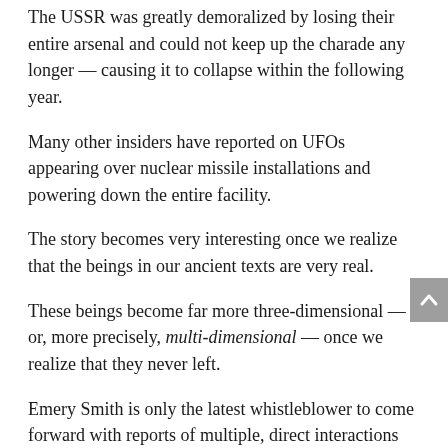The USSR was greatly demoralized by losing their entire arsenal and could not keep up the charade any longer — causing it to collapse within the following year.
Many other insiders have reported on UFOs appearing over nuclear missile installations and powering down the entire facility.
The story becomes very interesting once we realize that the beings in our ancient texts are very real.
These beings become far more three-dimensional — or, more precisely, multi-dimensional — once we realize that they never left.
Emery Smith is only the latest whistleblower to come forward with reports of multiple, direct interactions with extraterrestrials working in underground corporate/military bases.
THERE HAS NEVER BEEN AGREEMENT ON SECRECY